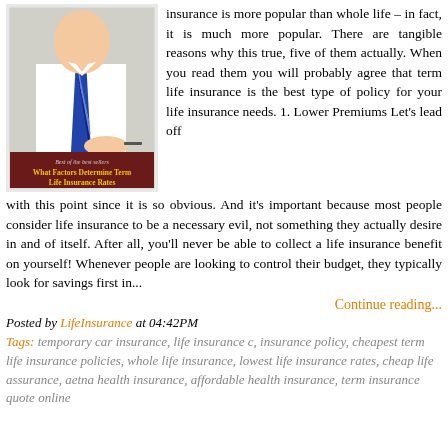[Figure (illustration): Book cover image showing a man in a white shirt and tie signing a document, with text 'Best of the best sellers' and 'What Factors Determine Term Life Insurance Rates' on a dark red/maroon banner at the bottom of the image.]
insurance is more popular than whole life – in fact, it is much more popular. There are tangible reasons why this true, five of them actually. When you read them you will probably agree that term life insurance is the best type of policy for your life insurance needs. 1. Lower Premiums Let's lead off with this point since it is so obvious. And it's important because most people consider life insurance to be a necessary evil, not something they actually desire in and of itself. After all, you'll never be able to collect a life insurance benefit on yourself! Whenever people are looking to control their budget, they typically look for savings first in...
Continue reading...
Posted by LifeInsurance at 04:42PM
Tags: temporary car insurance, life insurance c, insurance policy, cheapest term life insurance policies, whole life insurance, lowest life insurance rates, cheap life assurance, aetna health insurance, affordable health insurance, term insurance quote online